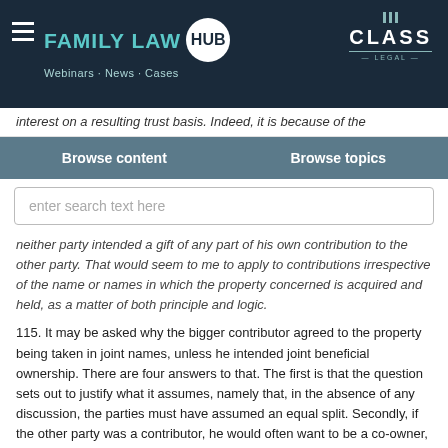FAMILY LAW HUB · Webinars · News · Cases | CLASS LEGAL
interest on a resulting trust basis. Indeed, it is because of the
Browse content | Browse topics
enter search text here
neither party intended a gift of any part of his own contribution to the other party. That would seem to me to apply to contributions irrespective of the name or names in which the property concerned is acquired and held, as a matter of both principle and logic.
115. It may be asked why the bigger contributor agreed to the property being taken in joint names, unless he intended joint beneficial ownership. There are four answers to that. The first is that the question sets out to justify what it assumes, namely that, in the absence of any discussion, the parties must have assumed an equal split. Secondly, if the other party was a contributor, he would often want to be a co-owner, and the only way real property can be held in law by two persons is as joint owners. Thirdly, the converse point can be made where a property is acquired in the name of one party: if the other party has contributed to the purchase, his absence from the title is not evidence that he was not intended to have an interest. (In this connection, it seems to me that, where a home is